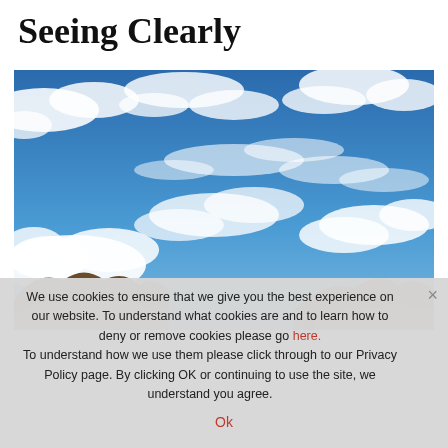Seeing Clearly
[Figure (photo): Photo of a blue sky with scattered white clouds and rocky desert hills at the bottom]
We use cookies to ensure that we give you the best experience on our website. To understand what cookies are and to learn how to deny or remove cookies please go here. To understand how we use them please click through to our Privacy Policy page. By clicking OK or continuing to use the site, we understand you agree.
Ok